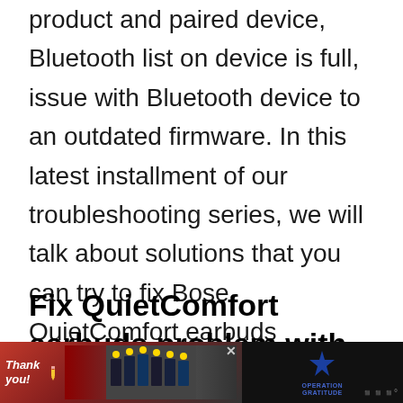product and paired device, Bluetooth list on device is full, issue with Bluetooth device to an outdated firmware. In this latest installment of our troubleshooting series, we will talk about solutions that you can try to fix Bose QuietComfort earbuds problem with Bluetooth that disconnects from paired device.
Fix QuietComfort earbuds problem with Bluetooth that disconnects from paired device
[Figure (other): Advertisement banner at the bottom of the page showing Operation Gratitude charity ad with firefighters and a 'Thank you!' handwritten message with a pencil graphic, plus a star logo and 'Operation Gratitude' text. Has a close (X) button and a mute icon.]